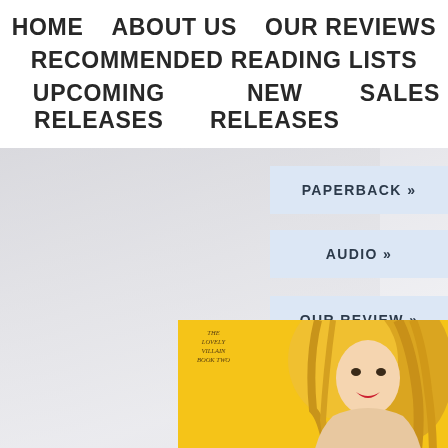HOME   ABOUT US   OUR REVIEWS
RECOMMENDED READING LISTS
UPCOMING RELEASES   NEW RELEASES   SALES
PAPERBACK »
PAPERBACK »
AUDIO »
OUR REVIEW »
[Figure (photo): Partial book cover with yellow background and woman with blonde hair]